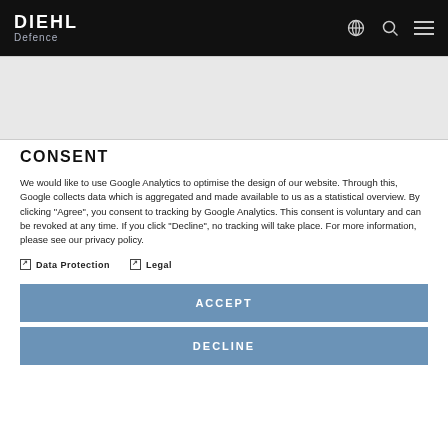DIEHL Defence
CONSENT
We would like to use Google Analytics to optimise the design of our website. Through this, Google collects data which is aggregated and made available to us as a statistical overview. By clicking "Agree", you consent to tracking by Google Analytics. This consent is voluntary and can be revoked at any time. If you click "Decline", no tracking will take place. For more information, please see our privacy policy.
Data Protection
Legal
ACCEPT
DECLINE